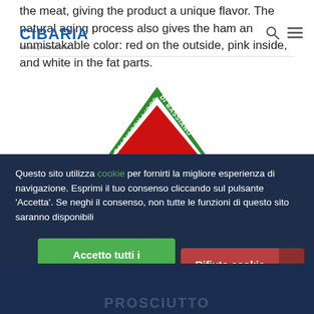the meat, giving the product a unique flavor. The natural aging process also gives the ham an unmistakable color: red on the outside, pink inside, and white in the fat parts.
[Figure (logo): Cibaria website logo with blue bold text 'CIBARIA' and subtitle text below, along with search and menu icons at top right]
[Figure (logo): Triangular logo for Prosciutto di Bassiano: green triangle border with red filled triangle inside, text 'PROSCIUTTO DI BASSIANO' around the border and 'Soc. di Bassiani' at bottom]
Questo sito utilizza cookie per fornirti la migliore esperienza di navigazione. Esprimi il tuo consenso cliccando sul pulsante 'Accetta'. Se neghi il consenso, non tutte le funzioni di questo sito saranno disponibili
Accetto tutti i cookie
Rifiuto cookie